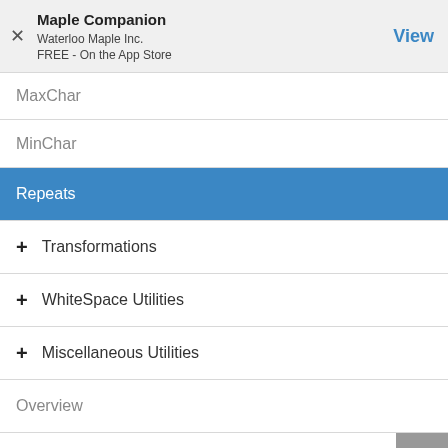Maple Companion
Waterloo Maple Inc.
FREE - On the App Store
MaxChar
MinChar
Repeats
+ Transformations
+ WhiteSpace Utilities
+ Miscellaneous Utilities
Overview
References
name overview